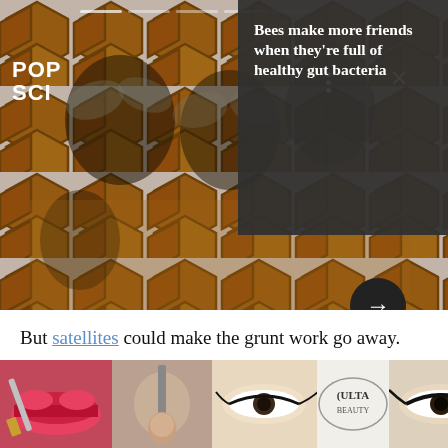[Figure (photo): Close-up photo of honeybees in hexagonal honeycomb cells, warm amber/brown tones, used as article header image for a Popular Science article.]
POP SCI
Bees make more friends when they're full of healthy gut bacteria
But satellites could make the grunt work go away. Satellite imagery gets better and more ubiquitous every day as new satellites are launched and old ones are updated. The European Space Agency just launched the Sentinel-2 satellite at the end of June and it's already sending back incredible images that
[Figure (photo): Advertisement banner for Ulta Beauty showing close-up beauty/makeup imagery: lips with red lipstick, makeup brush, eye with dramatic makeup, Ulta Beauty logo, and another eye with dramatic eye makeup. Text reads SHOP NOW.]